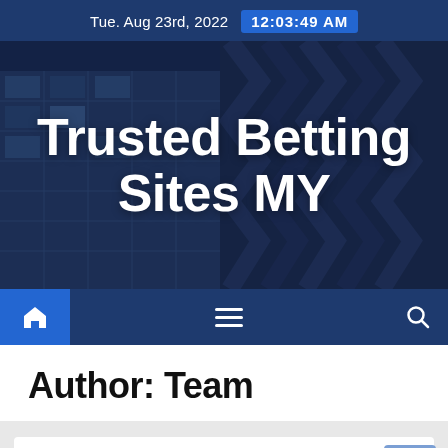Tue. Aug 23rd, 2022  12:03:49 AM
Trusted Betting Sites MY
[Figure (screenshot): Website navigation bar with home icon button (blue), hamburger menu icon (center), and search icon (right) on dark navy background]
Author: Team
[Figure (screenshot): Grey content area with a white card/article preview box and a blue scroll-to-top arrow button in the bottom right corner]